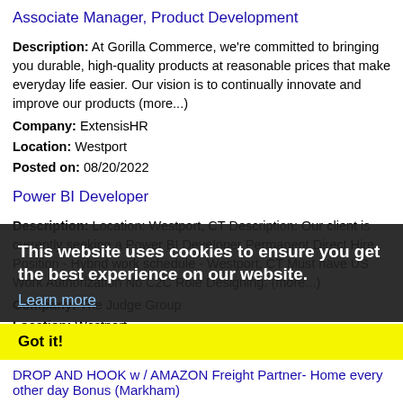Associate Manager, Product Development
Description: At Gorilla Commerce, we're committed to bringing you durable, high-quality products at reasonable prices that make everyday life easier. Our vision is to continually innovate and improve our products (more...)
Company: ExtensisHR
Location: Westport
Posted on: 08/20/2022
Power BI Developer
Description: Location: Westport, CT Description: Our client is currently seeking a Power BI Developer Permanent Direct Hire Position - Hybrid work schedule - Westport, CT Must have US Work Authorization No C2C Role Designing. (more...)
Company: The Judge Group
Location: Westport
Posted on: 08/20/2022
DROP AND HOOK w / AMAZON Freight Partner- Home every other day Bonus (Markham)
Description: Class A CDL Drivers for Amazon Freight Partner Home every other day, starting at 65,000 year Compensation: Starts at 65,000 yearly take home pay benefits safety bonus Sign-
This website uses cookies to ensure you get the best experience on our website. Learn more
Got it!